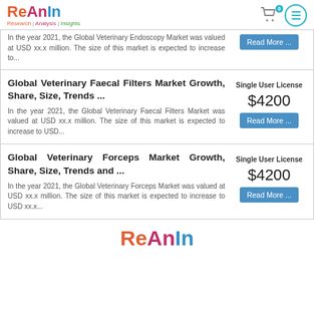ReAnIn Research | Analysis | Insights
In the year 2021, the Global Veterinary Endoscopy Market was valued at USD xx.x million. The size of this market is expected to increase to...
Global Veterinary Faecal Filters Market Growth, Share, Size, Trends ...
Single User License
$4200
In the year 2021, the Global Veterinary Faecal Filters Market was valued at USD xx.x million. The size of this market is expected to increase to USD...
Global Veterinary Forceps Market Growth, Share, Size, Trends and ...
Single User License
$4200
In the year 2021, the Global Veterinary Forceps Market was valued at USD xx.x million. The size of this market is expected to increase to USD xx.x...
ReAnIn